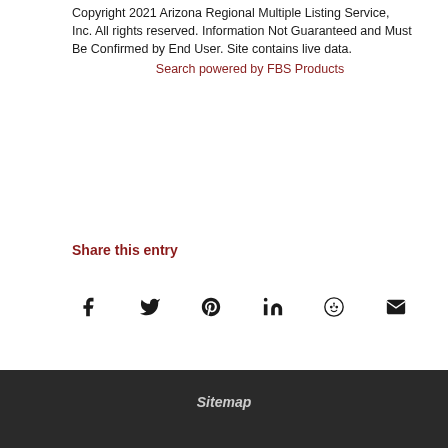Copyright 2021 Arizona Regional Multiple Listing Service, Inc. All rights reserved. Information Not Guaranteed and Must Be Confirmed by End User. Site contains live data.
Search powered by FBS Products
Share this entry
[Figure (infographic): Row of social media share icons: Facebook, Twitter, Pinterest, LinkedIn, Reddit, Email]
Sitemap